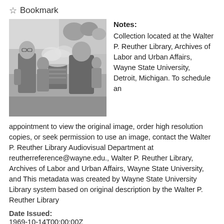☆ Bookmark
[Figure (photo): Black and white photograph of workers standing near a barrel, possibly on a picket line]
Notes: Collection located at the Walter P. Reuther Library, Archives of Labor and Urban Affairs, Wayne State University, Detroit, Michigan. To schedule an appointment to view the original image, order high resolution copies, or seek permission to use an image, contact the Walter P. Reuther Library Audiovisual Department at reutherreference@wayne.edu., Walter P. Reuther Library, Archives of Labor and Urban Affairs, Wayne State University, and This metadata was created by Wayne State University Library system based on original description by the Walter P. Reuther Library
Date Issued:
1969-10-14T00:00:00Z
Data Provider:
Wayne State University Libraries and Walter P. Reuther